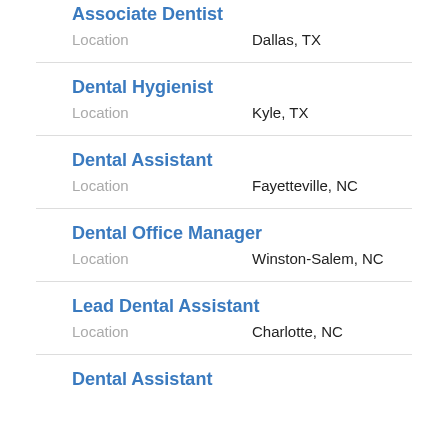Associate Dentist
Location    Dallas, TX
Dental Hygienist
Location    Kyle, TX
Dental Assistant
Location    Fayetteville, NC
Dental Office Manager
Location    Winston-Salem, NC
Lead Dental Assistant
Location    Charlotte, NC
Dental Assistant